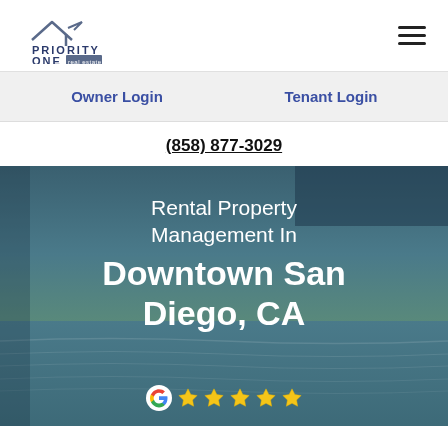[Figure (logo): Priority One Real Estate logo with house/roof icon and text]
Owner Login
Tenant Login
(858) 877-3029
[Figure (photo): Hero image with ocean/teal background and text overlay: Rental Property Management In Downtown San Diego, CA with Google 5-star rating]
Rental Property Management In Downtown San Diego, CA